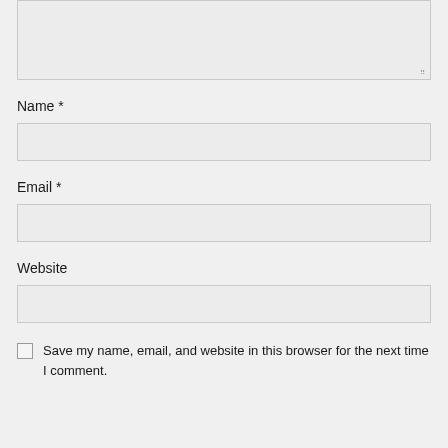[Figure (screenshot): Text area input box (partially visible at top), with resize handle at bottom-right corner]
Name *
[Figure (screenshot): Empty text input field for Name]
Email *
[Figure (screenshot): Empty text input field for Email]
Website
[Figure (screenshot): Empty text input field for Website]
Save my name, email, and website in this browser for the next time I comment.